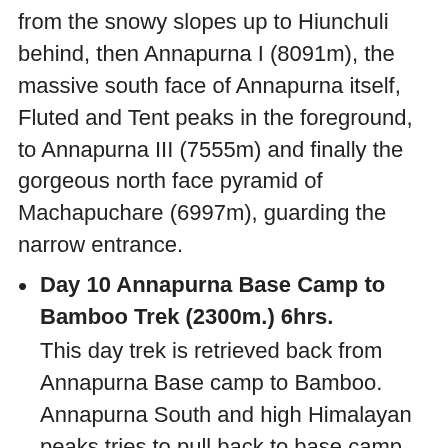from the snowy slopes up to Hiunchuli behind, then Annapurna I (8091m), the massive south face of Annapurna itself, Fluted and Tent peaks in the foreground, to Annapurna III (7555m) and finally the gorgeous north face pyramid of Machapuchare (6997m), guarding the narrow entrance.
Day 10 Annapurna Base Camp to Bamboo Trek (2300m.) 6hrs. This day trek is retrieved back from Annapurna Base camp to Bamboo. Annapurna South and high Himalayan peaks tries to pull back to base camp where you feel heavenly intoxicated with the beauty of nature. Pleasant walking through forests and passing some villages provide chances to explore the area.
Day 11 Bamboo to Jhinu Danda Trek (1780m.) 5 hrs. On this day, we trek Jhinu Danda. The trekking is